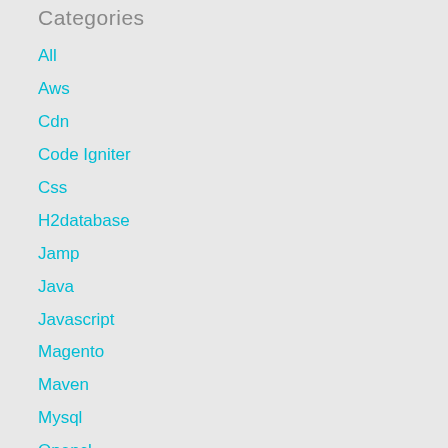Categories
All
Aws
Cdn
Code Igniter
Css
H2database
Jamp
Java
Javascript
Magento
Maven
Mysql
Opencl
Php
Play-framework
Quercus
Scala
Ubuntu